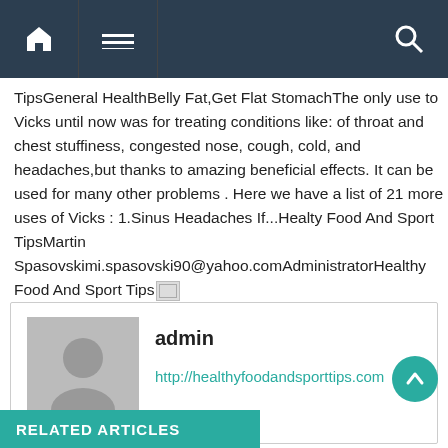Navigation bar with home, menu, and search icons
TipsGeneral HealthBelly Fat,Get Flat StomachThe only use to Vicks until now was for treating conditions like: of throat and chest stuffiness, congested nose, cough, cold, and headaches,but thanks to amazing beneficial effects. It can be used for many other problems . Here we have a list of 21 more uses of Vicks : 1.Sinus Headaches If...Healty Food And Sport TipsMartin Spasovskim.spasovski90@yahoo.comAdministratorHealthy Food And Sport Tips
admin
http://healthyfoodandsporttips.com
RELATED ARTICLES